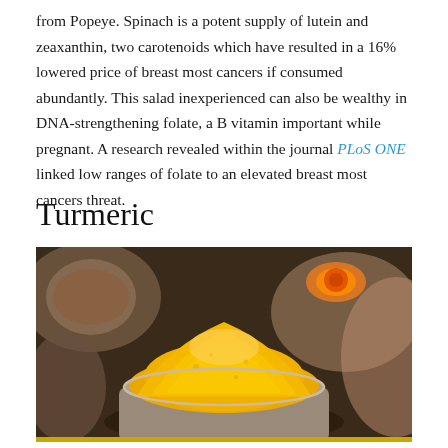from Popeye. Spinach is a potent supply of lutein and zeaxanthin, two carotenoids which have resulted in a 16% lowered price of breast most cancers if consumed abundantly. This salad inexperienced can also be wealthy in DNA-strengthening folate, a B vitamin important while pregnant. A research revealed within the journal PLoS ONE linked low ranges of folate to an elevated breast most cancers threat.
Turmeric
[Figure (photo): Close-up photograph of a bowl of bright yellow turmeric powder with cut turmeric root pieces in the background.]